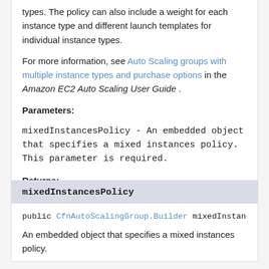types. The policy can also include a weight for each instance type and different launch templates for individual instance types.
For more information, see Auto Scaling groups with multiple instance types and purchase options in the Amazon EC2 Auto Scaling User Guide .
Parameters:
mixedInstancesPolicy - An embedded object that specifies a mixed instances policy. This parameter is required.
Returns:
this
mixedInstancesPolicy
public CfnAutoScalingGroup.Builder mixedInstances
An embedded object that specifies a mixed instances policy.